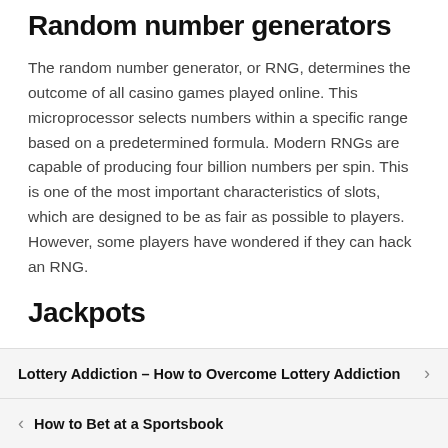Random number generators
The random number generator, or RNG, determines the outcome of all casino games played online. This microprocessor selects numbers within a specific range based on a predetermined formula. Modern RNGs are capable of producing four billion numbers per spin. This is one of the most important characteristics of slots, which are designed to be as fair as possible to players. However, some players have wondered if they can hack an RNG.
Jackpots
The Jackpots on slot online games vary depending on theme, paylines, and ways to win. These slots are among the most popular games in casinos and can range from $1 to millions of
Lottery Addiction – How to Overcome Lottery Addiction
How to Bet at a Sportsbook